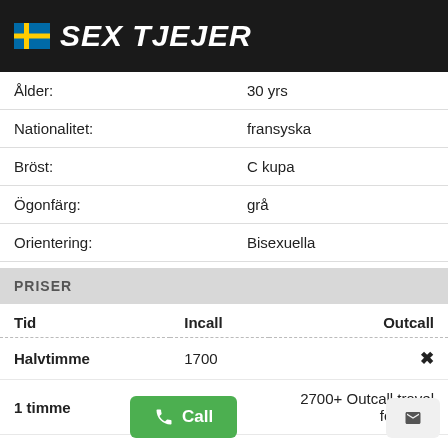SEX TJEJER
|  |  |
| --- | --- |
| Ålder: | 30 yrs |
| Nationalitet: | fransyska |
| Bröst: | C kupa |
| Ögonfärg: | grå |
| Orientering: | Bisexuella |
PRISER
| Tid | Incall | Outcall |
| --- | --- | --- |
| Halvtimme | 1700 | ✗ |
| 1 timme | 2600 | 2700+ Outcall travel fee(taxi) |
| Plus timmar | 3300 | 4500+ Outcall travel fee(taxi) |
| 12 timmar | ✗ | ✗ |